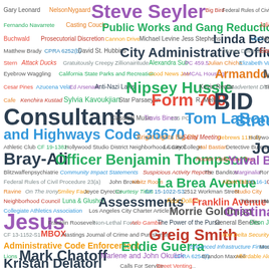[Figure (infographic): Word cloud containing names of people, places, legislation, and government-related terms in various colors and font sizes. Larger terms include: Steve Seyler, BID Consultants, Tom LaBonge, Streets and Highways Code 36670, Joe Bray-Ali, Officer Benjamin Thompson, Form 700, La Brea Avenue, Assessments, Morrie Goldman, Cristina de Jesus, Greig Smith, Eddie Guerra, Mark Chatoff, Administrative Code Enforcement, Franklin Avenue, City Administrative Officer, Nipsey Hussle, Public Works and Gang Reduction Committee, Linda Becker, Armando Herman, Minneapolis, Yuval Bar-Zemer, and many more.]